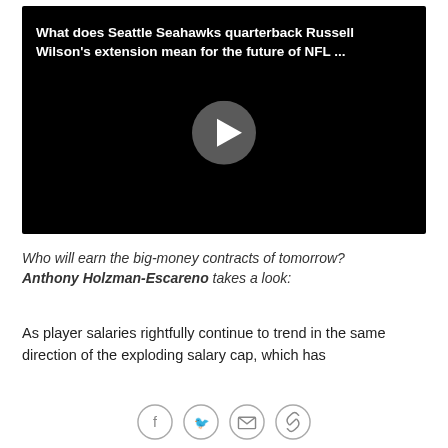[Figure (screenshot): Black video player with white bold title text 'What does Seattle Seahawks quarterback Russell Wilson's extension mean for the future of NFL ...' and a circular gray play button in the center.]
Who will earn the big-money contracts of tomorrow? Anthony Holzman-Escareno takes a look:
As player salaries rightfully continue to trend in the same direction of the exploding salary cap, which has
[Figure (infographic): Social sharing icon bar with four circular buttons: Facebook (f), Twitter (bird), Email (envelope), Link (chain/paperclip).]